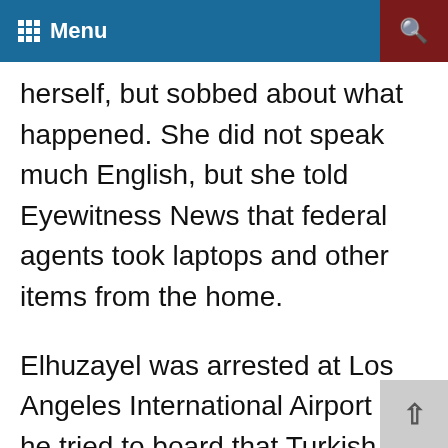Menu
herself, but sobbed about what happened. She did not speak much English, but she told Eyewitness News that federal agents took laptops and other items from the home.
Elhuzayel was arrested at Los Angeles International Airport as he tried to board that Turkish Airlines flight to Turkey. Elhuzayel's parents